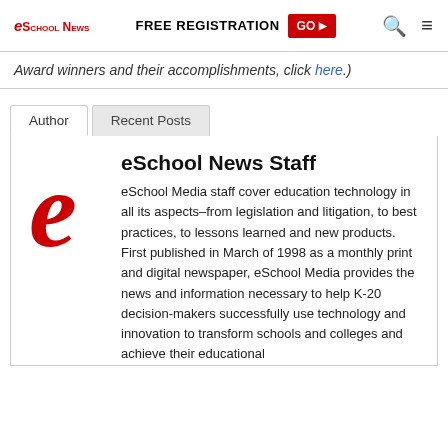eSchool News | FREE REGISTRATION GO
Award winners and their accomplishments, click here.)
Author | Recent Posts
eSchool News Staff
eSchool Media staff cover education technology in all its aspects–from legislation and litigation, to best practices, to lessons learned and new products. First published in March of 1998 as a monthly print and digital newspaper, eSchool Media provides the news and information necessary to help K-20 decision-makers successfully use technology and innovation to transform schools and colleges and achieve their educational